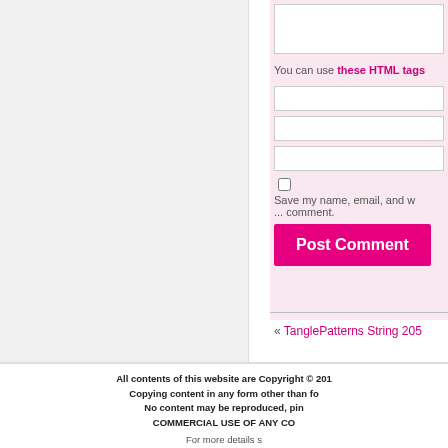You can use these HTML tags
Save my name, email, and w... comment.
Post Comment
« TanglePatterns String 205
All contents of this website are Copyright © 201... Copying content in any form other than fo... No content may be reproduced, pin... COMMERCIAL USE OF ANY CO... For more details s... TanglePatterns.com ...